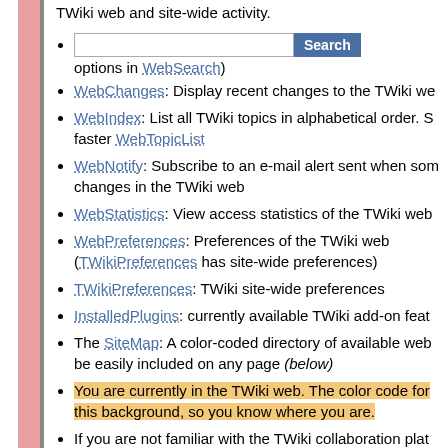TWiki web and site-wide activity.
[search box] options in WebSearch)
WebChanges: Display recent changes to the TWiki we
WebIndex: List all TWiki topics in alphabetical order. S faster WebTopicList
WebNotify: Subscribe to an e-mail alert sent when som changes in the TWiki web
WebStatistics: View access statistics of the TWiki web
WebPreferences: Preferences of the TWiki web (TWikiPreferences has site-wide preferences)
TWikiPreferences: TWiki site-wide preferences
InstalledPlugins: currently available TWiki add-on feat
The SiteMap: A color-coded directory of available web be easily included on any page (below)
You are currently in the TWiki web. The color code for this background, so you know where you are.
If you are not familiar with the TWiki collaboration plat please visit WelcomeGuest first.